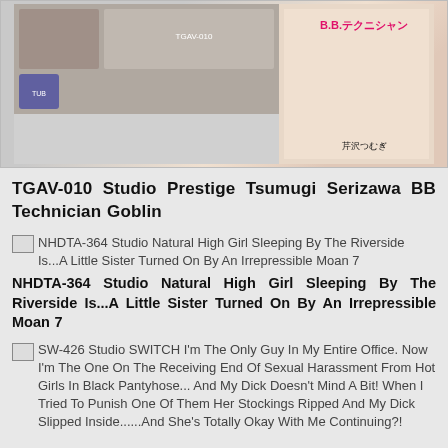[Figure (photo): Product image for TGAV-010 Studio Prestige Tsumugi Serizawa BB Technician Goblin DVD cover]
TGAV-010 Studio Prestige Tsumugi Serizawa BB Technician Goblin
[Figure (photo): Broken image placeholder for NHDTA-364 Studio Natural High Girl Sleeping By The Riverside Is...A Little Sister Turned On By An Irrepressible Moan 7]
NHDTA-364 Studio Natural High Girl Sleeping By The Riverside Is...A Little Sister Turned On By An Irrepressible Moan 7
[Figure (photo): Broken image placeholder for SW-426 Studio SWITCH I'm The Only Guy In My Entire Office. Now I'm The One On The Receiving End Of Sexual Harassment From Hot Girls In Black Pantyhose... And My Dick Doesn't Mind A Bit! When I Tried To Punish One Of Them Her Stockings Ripped And My Dick Slipped Inside......And She's Totally Okay With Me Continuing?!]